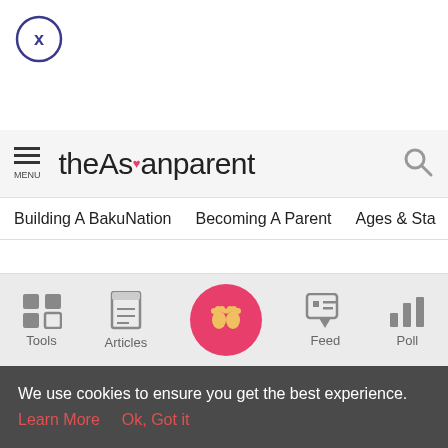[Figure (screenshot): Close/dismiss button — circle with X]
theAsianparent — MENU, logo, search icon
Building A BakuNation   Becoming A Parent   Ages & Sta >
happens!
It's late at night. The children are in bed, your work is done, and both you and your spouse are feeling amorous. The
Tools | Articles | (home) | Feed | Poll
We use cookies to ensure you get the best experience.
Learn More   Ok, Got it